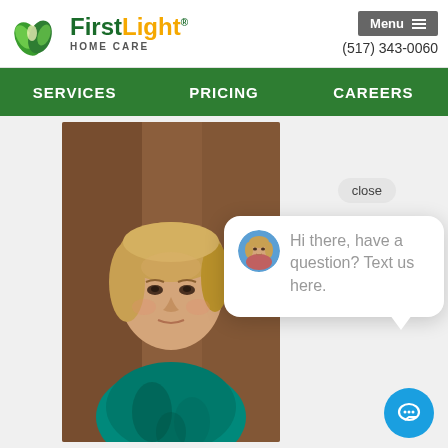[Figure (logo): FirstLight Home Care logo with green leaf graphic, green and orange brand name text, and HOME CARE subtitle]
(517) 343-0060
Menu
SERVICES  PRICING  CAREERS
[Figure (photo): Portrait photo of a middle-aged woman with blonde hair wearing a teal patterned top, photographed against a warm brown background]
close
[Figure (photo): Small circular avatar of the same woman used as chat assistant profile picture]
Hi there, have a question? Text us here.